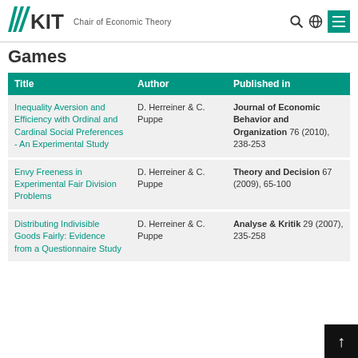KIT — Chair of Economic Theory
Games
| Title | Author | Published in |
| --- | --- | --- |
| Inequality Aversion and Efficiency with Ordinal and Cardinal Social Preferences - An Experimental Study | D. Herreiner & C. Puppe | Journal of Economic Behavior and Organization 76 (2010), 238-253 |
| Envy Freeness in Experimental Fair Division Problems | D. Herreiner & C. Puppe | Theory and Decision 67 (2009), 65-100 |
| Distributing Indivisible Goods Fairly: Evidence from a Questionnaire Study | D. Herreiner & C. Puppe | Analyse & Kritik 29 (2007), 235-258 |